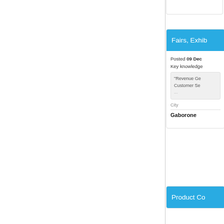Fairs, Exhib...
Posted 09 Dec
Key knowledge
"Revenue Ge
Customer Se
...
City
Gaborone
Product Co...